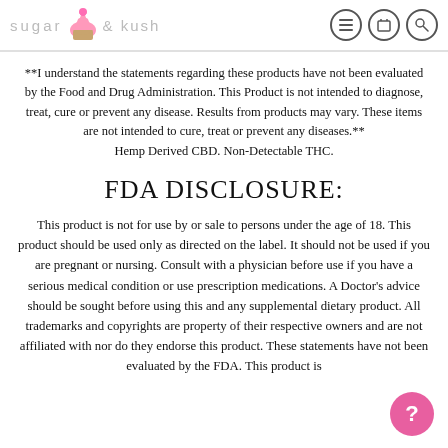sugar & kush [logo with cupcake icon and navigation icons]
**I understand the statements regarding these products have not been evaluated by the Food and Drug Administration. This Product is not intended to diagnose, treat, cure or prevent any disease. Results from products may vary. These items are not intended to cure, treat or prevent any diseases.** Hemp Derived CBD. Non-Detectable THC.
FDA DISCLOSURE:
This product is not for use by or sale to persons under the age of 18. This product should be used only as directed on the label. It should not be used if you are pregnant or nursing. Consult with a physician before use if you have a serious medical condition or use prescription medications. A Doctor's advice should be sought before using this and any supplemental dietary product. All trademarks and copyrights are property of their respective owners and are not affiliated with nor do they endorse this product. These statements have not been evaluated by the FDA. This product is not intended to diagnose, treat, cure or prevent any disease.